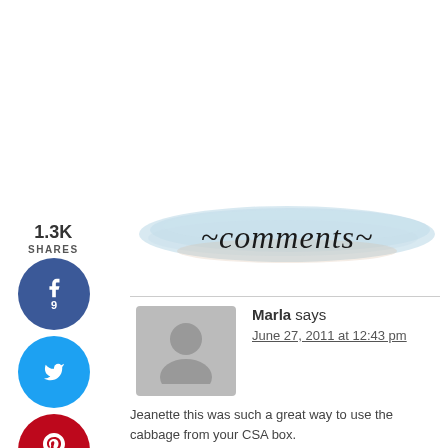1.3K
SHARES
[Figure (infographic): Social share buttons: Facebook (9 shares), Twitter, Pinterest (1.3K), Yummly]
[Figure (illustration): Watercolor brush stroke banner with cursive text 'comments']
Marla says
June 27, 2011 at 12:43 pm
Jeanette this was such a great way to use the cabbage from your CSA box. It is vegetarian week at Get Grillin! as would love...